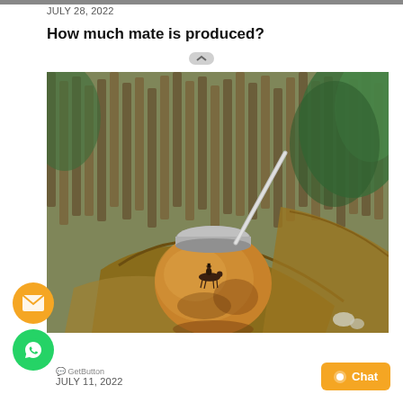JULY 28, 2022
How much mate is produced?
[Figure (photo): A traditional mate gourd with a metal straw (bombilla), decorated with a gaucho on horseback motif, sitting on pieces of driftwood with a wooden fence and green plants in the background.]
GetButton  JULY 11, 2022